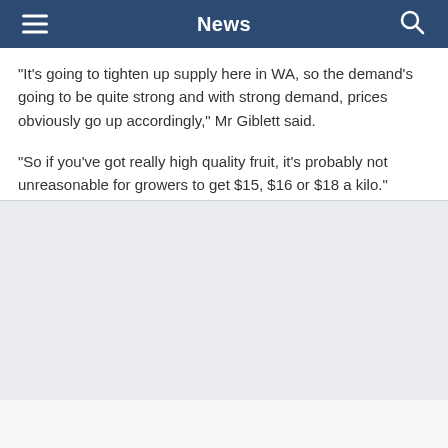News
"It's going to tighten up supply here in WA, so the demand's going to be quite strong and with strong demand, prices obviously go up accordingly," Mr Giblett said.
"So if you've got really high quality fruit, it's probably not unreasonable for growers to get $15, $16 or $18 a kilo."